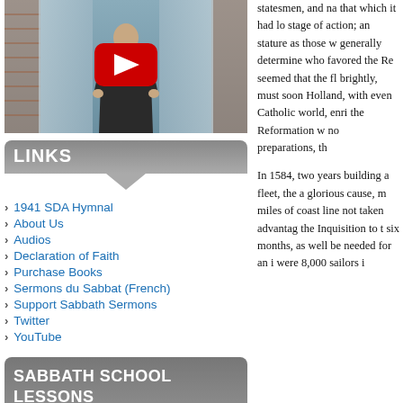[Figure (screenshot): YouTube video thumbnail showing a man in a suit standing in front of a curtain background, with a red YouTube play button overlay]
LINKS
1941 SDA Hymnal
About Us
Audios
Declaration of Faith
Purchase Books
Sermons du Sabbat (French)
Support Sabbath Sermons
Twitter
YouTube
SABBATH SCHOOL LESSONS 2022
statesmen, and na that which it had lo stage of action; an stature as those w generally determine who favored the Re seemed that the fl brightly, must soon Holland, with even Catholic world, enri the Reformation w no preparations, th

In 1584, two years building a fleet, the a glorious cause, m miles of coast line not taken advantag the Inquisition to t six months, as well be needed for an i were 8,000 sailors i